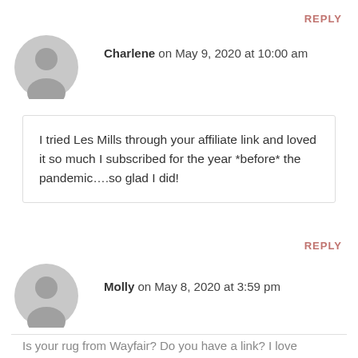REPLY
[Figure (illustration): Gray placeholder avatar circle with silhouette for Charlene]
Charlene on May 9, 2020 at 10:00 am
I tried Les Mills through your affiliate link and loved it so much I subscribed for the year *before* the pandemic….so glad I did!
REPLY
[Figure (illustration): Gray placeholder avatar circle with silhouette for Molly]
Molly on May 8, 2020 at 3:59 pm
Is your rug from Wayfair? Do you have a link? I love